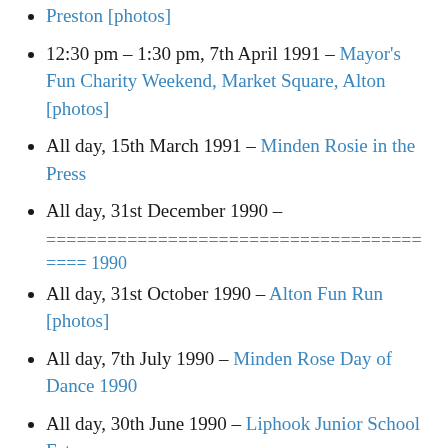Preston [photos]
12:30 pm – 1:30 pm, 7th April 1991 – Mayor's Fun Charity Weekend, Market Square, Alton [photos]
All day, 15th March 1991 – Minden Rosie in the Press
All day, 31st December 1990 – ===================================== ==== 1990
All day, 31st October 1990 – Alton Fun Run [photos]
All day, 7th July 1990 – Minden Rose Day of Dance 1990
All day, 30th June 1990 – Liphook Junior School Fete
All day, 16th June 1990 – 5th Brixham Folk Festival